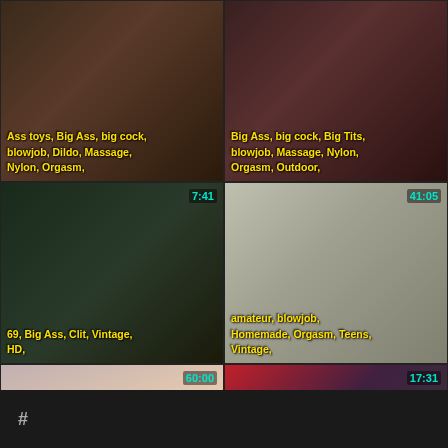[Figure (photo): Video thumbnail grid with 6 video thumbnails showing tags and durations]
#